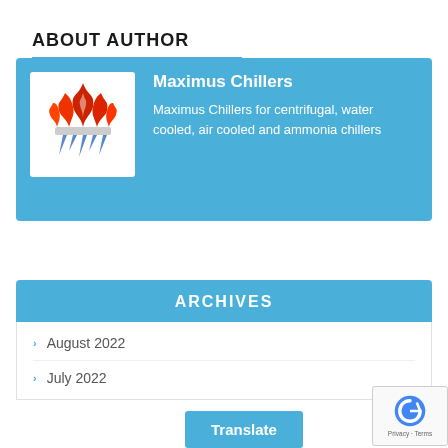ABOUT AUTHOR
[Figure (logo): Maximus Chillers logo: flames above icicles in red/white/blue]
Maximus Chillers
Maximus Chillers for centrifugal, water cooled, air cooled and ammonia chillers
ARCHIVES
August 2022
July 2022
Translate